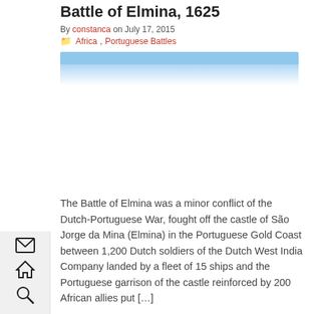Battle of Elmina, 1625
By constanca on July 17, 2015
Africa, Portuguese Battles
[Figure (photo): Image placeholder with light blue gradient bar at top, representing a banner or featured image for the Battle of Elmina article]
The Battle of Elmina was a minor conflict of the Dutch-Portuguese War, fought off the castle of São Jorge da Mina (Elmina) in the Portuguese Gold Coast between 1,200 Dutch soldiers of the Dutch West India Company landed by a fleet of 15 ships and the Portuguese garrison of the castle reinforced by 200 African allies put […]